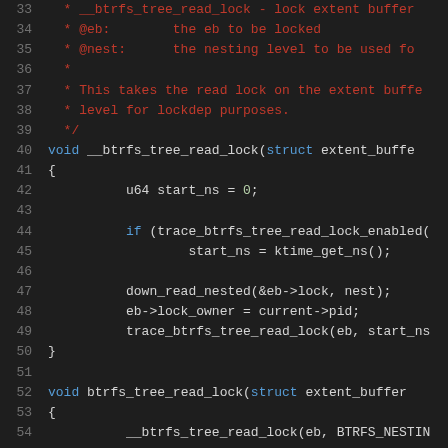[Figure (screenshot): Source code listing of C functions __btrfs_tree_read_lock and btrfs_tree_read_lock with line numbers 33-54, displayed in a dark-themed code editor. Line numbers in gray on left, comment text in red, keywords in blue, function names in yellow, numbers in green.]